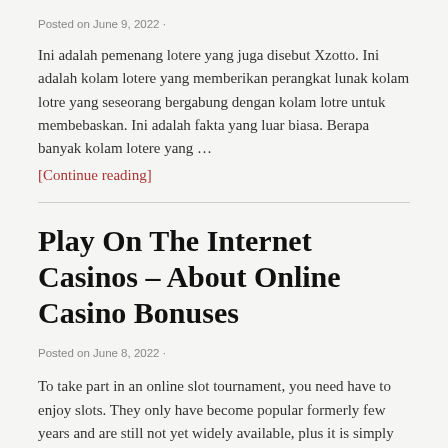Posted on June 9, 2022 ·
Ini adalah pemenang lotere yang juga disebut Xzotto. Ini adalah kolam lotere yang memberikan perangkat lunak kolam lotre yang seseorang bergabung dengan kolam lotre untuk membebaskan. Ini adalah fakta yang luar biasa. Berapa banyak kolam lotere yang …
[Continue reading]
Play On The Internet Casinos – About Online Casino Bonuses
Posted on June 8, 2022 ·
To take part in an online slot tournament, you need have to enjoy slots. They only have become popular formerly few years and are still not yet widely available, plus it is simply recently that they've got gathered momentum and started appearing in